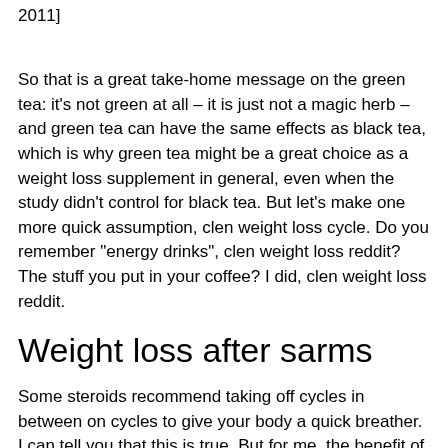2011]
So that is a great take-home message on the green tea: it's not green at all – it is just not a magic herb – and green tea can have the same effects as black tea, which is why green tea might be a great choice as a weight loss supplement in general, even when the study didn't control for black tea. But let's make one more quick assumption, clen weight loss cycle. Do you remember "energy drinks", clen weight loss reddit? The stuff you put in your coffee? I did, clen weight loss reddit.
Weight loss after sarms
Some steroids recommend taking off cycles in between on cycles to give your body a quick breather. I can tell you that this is true. But for me, the benefit of a few days off is immeasurable, sarms cycle for bulking. When I'm doing a set of exercises and my